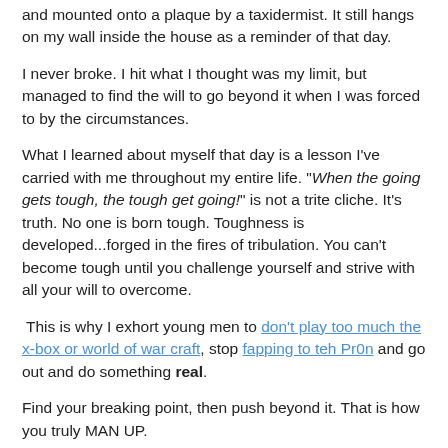and mounted onto a plaque by a taxidermist. It still hangs on my wall inside the house as a reminder of that day.
I never broke. I hit what I thought was my limit, but managed to find the will to go beyond it when I was forced to by the circumstances.
What I learned about myself that day is a lesson I've carried with me throughout my entire life. "When the going gets tough, the tough get going!" is not a trite cliche. It's truth. No one is born tough. Toughness is developed...forged in the fires of tribulation. You can't become tough until you challenge yourself and strive with all your will to overcome.
This is why I exhort young men to don't play too much the x-box or world of war craft, stop fapping to teh Pr0n and go out and do something real.
Find your breaking point, then push beyond it. That is how you truly MAN UP.
Don't be a pussy, you fag.